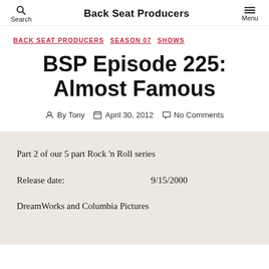Back Seat Producers
BACK SEAT PRODUCERS  SEASON 07  SHOWS
BSP Episode 225: Almost Famous
By Tony  April 30, 2012  No Comments
Part 2 of our 5 part Rock 'n Roll series
Release date:                    9/15/2000
DreamWorks and Columbia Pictures